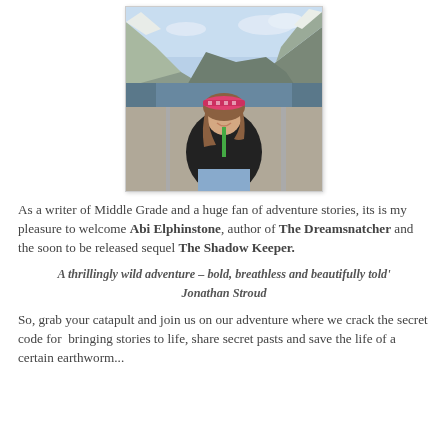[Figure (photo): Woman wearing a colorful headband and black jacket sitting at a scenic overlook with snow-capped mountains and a fjord in the background]
As a writer of Middle Grade and a huge fan of adventure stories, its is my pleasure to welcome Abi Elphinstone, author of The Dreamsnatcher and the soon to be released sequel The Shadow Keeper.
A thrillingly wild adventure – bold, breathless and beautifully told' Jonathan Stroud
So, grab your catapult and join us on our adventure where we crack the secret code for  bringing stories to life, share secret pasts and save the life of a certain earthworm...